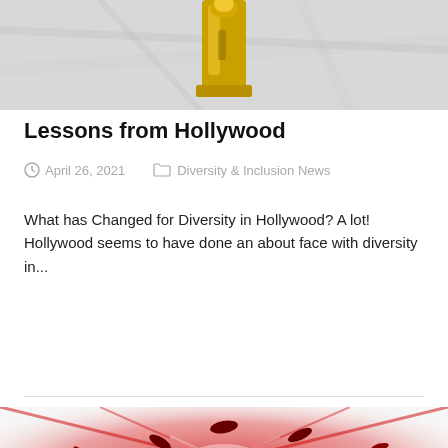[Figure (photo): Top of page: partial photo showing a gold Oscar-like statuette against a white marble/fabric background]
Lessons from Hollywood
April 26, 2021    Diversity & Inclusion News
What has Changed for Diversity in Hollywood? A lot! Hollywood seems to have done an about face with diversity in...
Read more
[Figure (photo): Bottom of page: abstract red and white image with dark oval/seed shapes scattered throughout, resembling a blood cell or floral explosion]